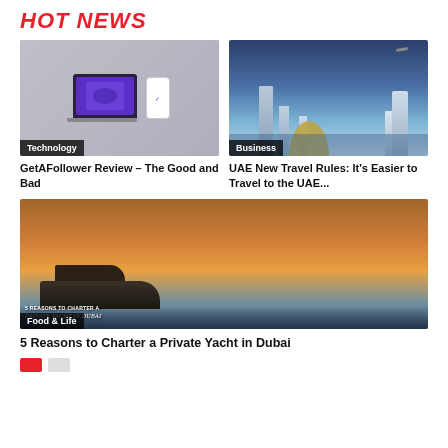HOT NEWS
[Figure (photo): Laptop and smartphone showing a purple social media platform interface, on grey background with Technology category badge]
GetAFollower Review – The Good and Bad
[Figure (photo): Dubai futuristic city skyline with towers including Burj Al Arab under dramatic cloudy sky, Business category badge]
UAE New Travel Rules: It's Easier to Travel to the UAE...
[Figure (photo): Luxury private yacht at sunset with text overlay '5 REASONS TO CHARTER A Private Yacht in Dubai', Food & Life category badge]
5 Reasons to Charter a Private Yacht in Dubai